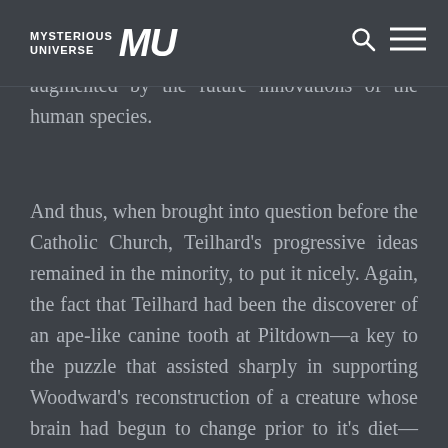MYSTERIOUS UNIVERSE MU
development, as well as both natural and, perhaps, a somewhat “enhanced” evolution as augmented by the future innovations of the human species.
And thus, when brought into question before the Catholic Church, Teilhard’s progressive ideas remained in the minority, to put it nicely. Again, the fact that Teilhard had been the discoverer of an ape-like canine tooth at Piltdown—a key to the puzzle that assisted sharply in supporting Woodward’s reconstruction of a creature whose brain had begun to change prior to it’s diet—would also have been in keeping with Teilhard’s vision of man’s progression throughout time and,